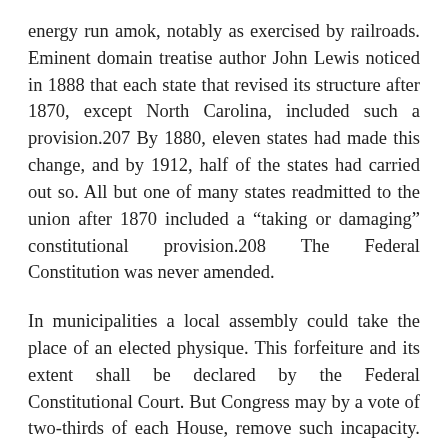energy run amok, notably as exercised by railroads. Eminent domain treatise author John Lewis noticed in 1888 that each state that revised its structure after 1870, except North Carolina, included such a provision.207 By 1880, eleven states had made this change, and by 1912, half of the states had carried out so. All but one of many states readmitted to the union after 1870 included a “taking or damaging” constitutional provision.208 The Federal Constitution was never amended.
In municipalities a local assembly could take the place of an elected physique. This forfeiture and its extent shall be declared by the Federal Constitutional Court. But Congress may by a vote of two-thirds of each House, remove such incapacity. But in choosing the President, the votes shall be taken by states, the representation from each state having one vote; a quorum for this objective shall include a member or members from two-thirds of the states, and a majority of all the states shall be essential to a selection.